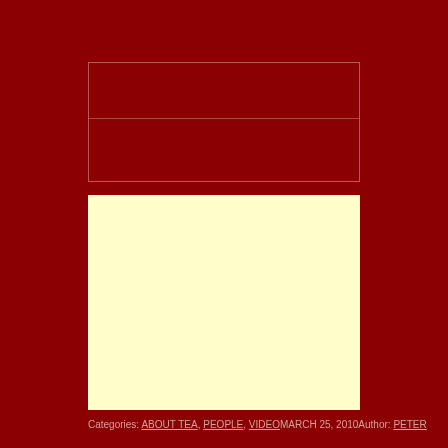[Figure (other): Two-row bordered rectangle outline on dark red background, likely a search/input form placeholder]
[Figure (other): Large light yellow (#ffffcc) content area rectangle on dark red background]
Categories: ABOUT TEA, PEOPLE, VIDEOMARCH 25, 2010Author: PETER